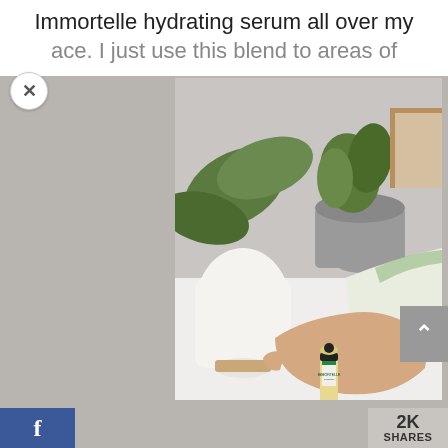Immortelle hydrating serum all over my
ace. I just use this blend to areas of
[Figure (photo): Hand holding a small Immortelle essential oil roller bottle, with green plants and a white vase in the background on a white surface. Person is wearing a light green and white sleeve.]
2K SHARES